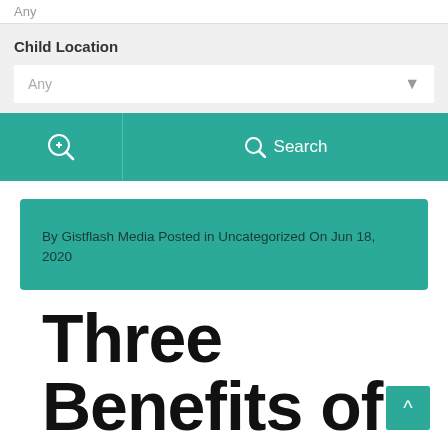Any
Child Location
Any
[Figure (screenshot): Teal navigation bar with a magnifying glass with plus icon on the left panel and a Search button with magnifying glass icon on the right panel]
By Gistflash Media Posted in Uncategorized On Jun 18, 2020
Three Benefits of